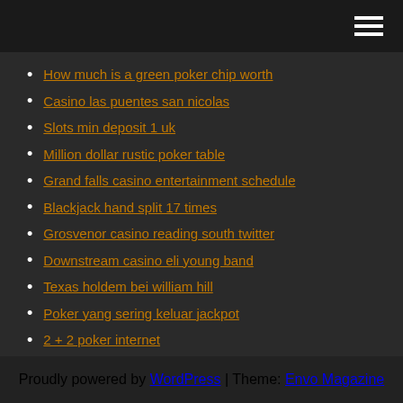Navigation menu (hamburger icon)
How much is a green poker chip worth
Casino las puentes san nicolas
Slots min deposit 1 uk
Million dollar rustic poker table
Grand falls casino entertainment schedule
Blackjack hand split 17 times
Grosvenor casino reading south twitter
Downstream casino eli young band
Texas holdem bei william hill
Poker yang sering keluar jackpot
2 + 2 poker internet
Proudly powered by WordPress | Theme: Envo Magazine